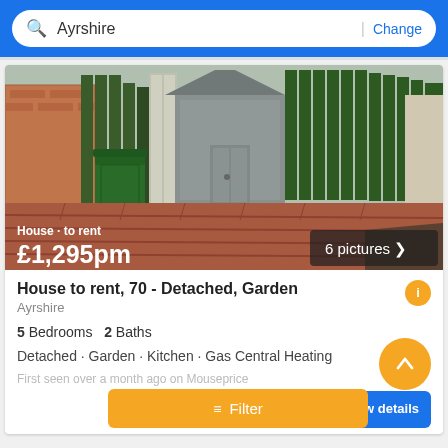Ayrshire | Change
[Figure (photo): Exterior photo of a house garden area showing green wooden fence panels, a metal shed, brick paving, and a wheelie bin. Overlaid with price and picture count.]
House to rent, 70 - Detached, Garden
Ayrshire
5 Bedrooms  2 Baths
Detached · Garden · Kitchen · Gas Central Heating
First seen over a month ago on Mouseprice